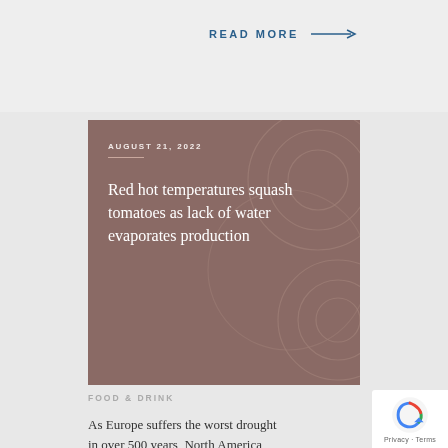READ MORE →
[Figure (illustration): Article card with brownish-rose background and decorative swirl patterns, containing date 'AUGUST 21, 2022' and article title 'Red hot temperatures squash tomatoes as lack of water evaporates production']
FOOD & DRINK
As Europe suffers the worst drought in over 500 years, North America